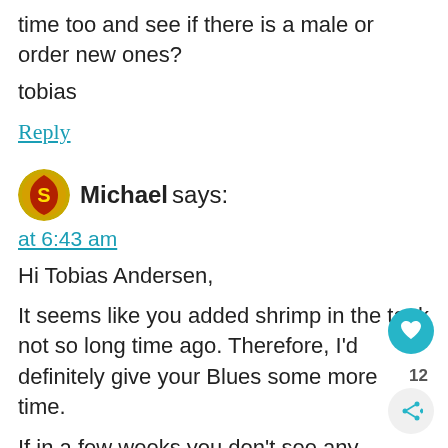time too and see if there is a male or order new ones?
tobias
Reply
Michael says:
at 6:43 am
Hi Tobias Andersen,
It seems like you added shrimp in the tank not so long time ago. Therefore, I'd definitely give your Blues some more time.
If in a few weeks you don't see any berried female, well, you may have to order some more.
Also, don't be too harsh with yourself, the first mo is the most dangerous in the shrimp keeping. There